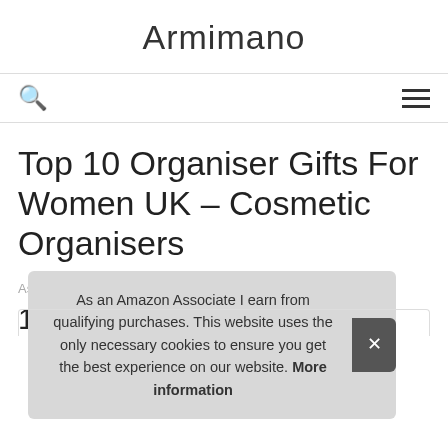Armimano
Top 10 Organiser Gifts For Women UK – Cosmetic Organisers
As an Amazon Associate I earn from qualifying purchases
1.
As an Amazon Associate I earn from qualifying purchases. This website uses the only necessary cookies to ensure you get the best experience on our website. More information